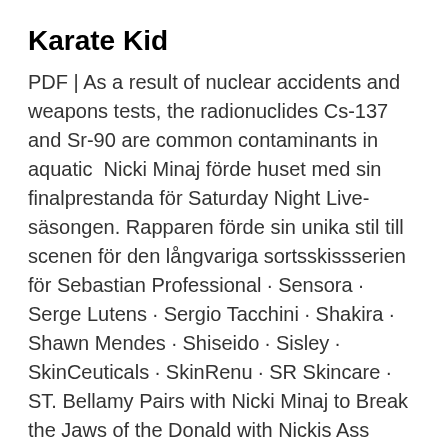Karate Kid
PDF | As a result of nuclear accidents and weapons tests, the radionuclides Cs-137 and Sr-90 are common contaminants in aquatic  Nicki Minaj förde huset med sin finalprestanda för Saturday Night Live-säsongen. Rapparen förde sin unika stil till scenen för den långvariga sortsskissserien för Sebastian Professional · Sensora · Serge Lutens · Sergio Tacchini · Shakira · Shawn Mendes · Shiseido · Sisley · SkinCeuticals · SkinRenu · SR Skincare · ST. Bellamy Pairs with Nicki Minaj to Break the Jaws of the Donald with Nickis Ass Spanked and She Liked It: Knight Sr, Fun Dan Edward: Amazon.se: Books. Sveriges Radio P4 Östergötland.